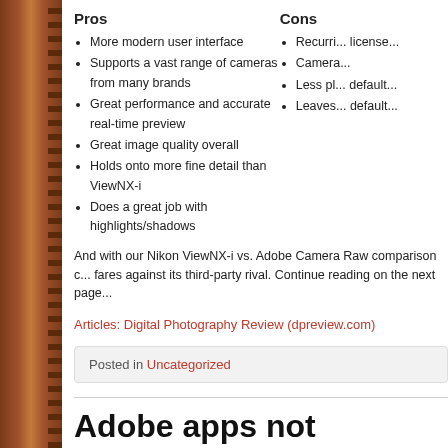Pros
More modern user interface
Supports a vast range of cameras from many brands
Great performance and accurate real-time preview
Great image quality overall
Holds onto more fine detail than ViewNX-i
Does a great job with highlights/shadows
Cons
Recurring license...
Camera...
Less pl... default...
Leaves... default...
And with our Nikon ViewNX-i vs. Adobe Camera Raw comparison c... fares against its third-party rival. Continue reading on the next page...
Articles: Digital Photography Review (dpreview.com)
Posted in Uncategorized
Adobe apps not officially support... chips using Rosetta 2, but native...